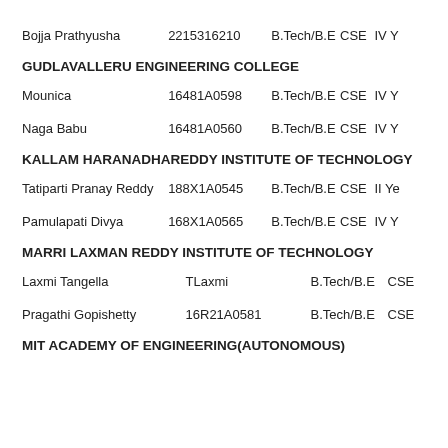Bojja Prathyusha   2215316210   B.Tech/B.E   CSE   IV Y
GUDLAVALLERU ENGINEERING COLLEGE
Mounica   16481A0598   B.Tech/B.E   CSE   IV Y
Naga Babu   16481A0560   B.Tech/B.E   CSE   IV Y
KALLAM HARANADHAREDDY INSTITUTE OF TECHNOLOGY
Tatiparti Pranay Reddy   188X1A0545   B.Tech/B.E   CSE   II Ye
Pamulapati Divya   168X1A0565   B.Tech/B.E   CSE   IV Y
MARRI LAXMAN REDDY INSTITUTE OF TECHNOLOGY
Laxmi Tangella   TLaxmi   B.Tech/B.E   CSE
Pragathi Gopishetty   16R21A0581   B.Tech/B.E   CSE
MIT ACADEMY OF ENGINEERING(AUTONOMOUS)